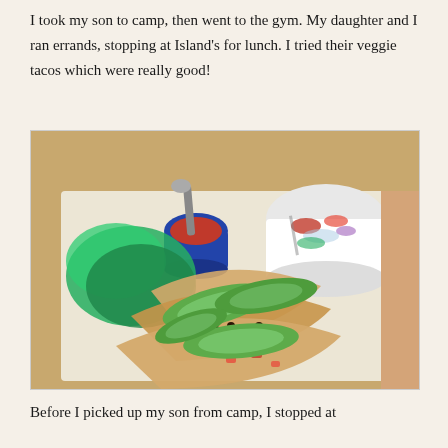I took my son to camp, then went to the gym. My daughter and I ran errands, stopping at Island's for lunch. I tried their veggie tacos which were really good!
[Figure (photo): A photo of veggie tacos served in a basket with avocado slices, pico de gallo, black beans, and corn tortillas, alongside a blue cup of salsa and a white bowl of salad, held by a person at a restaurant.]
Before I picked up my son from camp, I stopped at